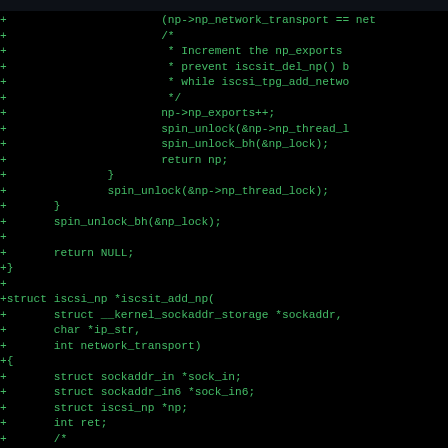[Figure (screenshot): Code diff screenshot showing C source code on black background with green monospace text. Lines prefixed with '+' showing additions to iscsit functions including spin_unlock calls, return statements, struct definitions, and variable declarations.]